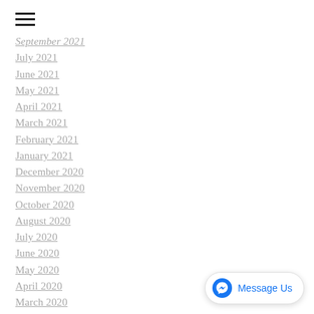[Figure (other): Hamburger menu icon (three horizontal lines)]
September 2021
July 2021
June 2021
May 2021
April 2021
March 2021
February 2021
January 2021
December 2020
November 2020
October 2020
August 2020
July 2020
June 2020
May 2020
April 2020
March 2020
[Figure (other): Facebook Messenger 'Message Us' button widget in bottom right corner]